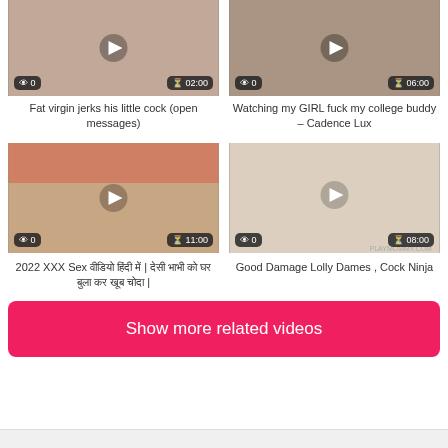[Figure (screenshot): Top row of two video thumbnails with overlays showing view count and duration]
Fat virgin jerks his little cock (open messages)
Watching my GIRL fuck my college buddy – Cadence Lux
[Figure (screenshot): Bottom row of two video thumbnails with overlays showing view count and duration]
2022 XXX Sex वीडियो हिंदी में | Good Damage Lolly Dames , Cock Ninja
Show more related videos